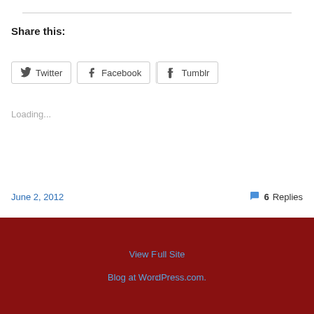Share this:
Twitter
Facebook
Tumblr
Loading...
June 2, 2012
6 Replies
View Full Site
Blog at WordPress.com.